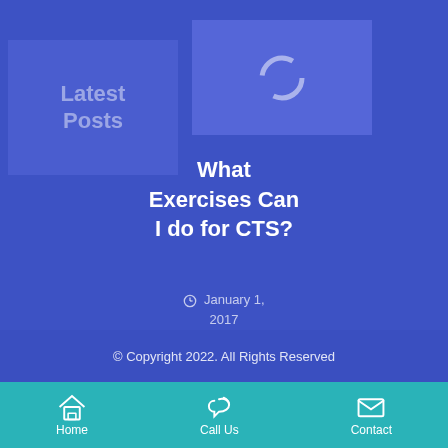[Figure (other): Latest Posts placeholder box with faded text]
[Figure (other): Article thumbnail image placeholder with loading circle icon]
What Exercises Can I do for CTS?
January 1, 2017
© Copyright 2022. All Rights Reserved
Home | Call Us | Contact